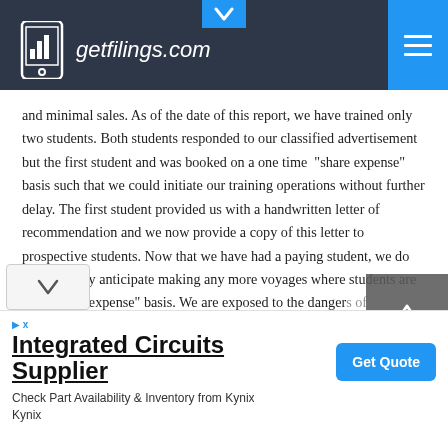getfilings.com
and minimal sales. As of the date of this report, we have trained only two students. Both students responded to our classified advertisement but the first student and was booked on a one time “share expense” basis such that we could initiate our training operations without further delay. The first student provided us with a handwritten letter of recommendation and we now provide a copy of this letter to prospective students. Now that we have had a paying student, we do not presently anticipate making any more voyages where students are on a “share expense” basis. We are exposed to the dangers of
[Figure (screenshot): Advertisement banner for Integrated Circuits Supplier - Kynix. Title: Integrated Circuits Supplier. Subtitle: Check Part Availability & Inventory from Kynix Kynix. Button: Get Quote]